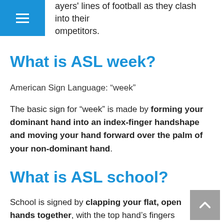ayers' lines of football as they clash into their competitors.
What is ASL week?
American Sign Language: “week”
The basic sign for “week” is made by forming your dominant hand into an index-finger handshape and moving your hand forward over the palm of your non-dominant hand.
What is ASL school?
School is signed by clapping your flat, open hands together, with the top hand’s fingers